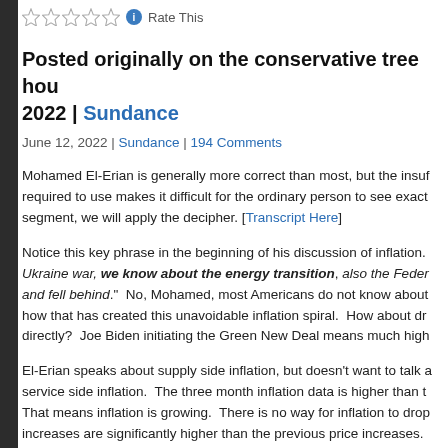[Figure (other): Star rating widget with 5 empty stars, info icon, and 'Rate This' label]
Posted originally on the conservative tree house June 12, 2022 | Sundance
June 12, 2022 | Sundance | 194 Comments
Mohamed El-Erian is generally more correct than most, but the insufficient language required to use makes it difficult for the ordinary person to see exactly. In this segment, we will apply the decipher. [Transcript Here]
Notice this key phrase in the beginning of his discussion of inflation. "...we know about the Ukraine war, we know about the energy transition, also the Federal Reserve that was slow and fell behind." No, Mohamed, most Americans do not know about the energy transition, or how that has created this unavoidable inflation spiral. How about dropping the gobbledygook directly? Joe Biden initiating the Green New Deal means much higher
El-Erian speaks about supply side inflation, but doesn't want to talk about the demand and service side inflation. The three month inflation data is higher than the previous three months. That means inflation is growing. There is no way for inflation to drop until the current price increases are significantly higher than the previous price increases. There is no without intervention. WATCH: